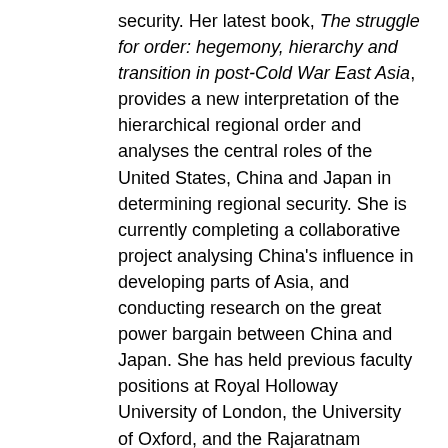security. Her latest book, The struggle for order: hegemony, hierarchy and transition in post-Cold War East Asia, provides a new interpretation of the hierarchical regional order and analyses the central roles of the United States, China and Japan in determining regional security. She is currently completing a collaborative project analysing China's influence in developing parts of Asia, and conducting research on the great power bargain between China and Japan. She has held previous faculty positions at Royal Holloway University of London, the University of Oxford, and the Rajaratnam School of International Studies in Singapore; and visiting positions at the Woodrow Wilson Center and East-West Center in Washington DC. She has been a East Asia Institute Fellow, and a UK Economic and Social Research Council Mid-Career Fellow. Michael Wesley is Professor of National Security and Director of the School of International, Political and Strategic Studies at the Australian